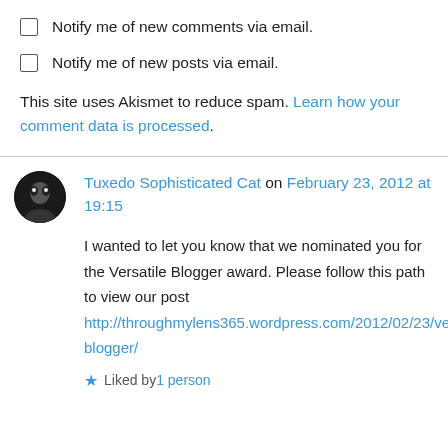Notify me of new comments via email.
Notify me of new posts via email.
This site uses Akismet to reduce spam. Learn how your comment data is processed.
Tuxedo Sophisticated Cat on February 23, 2012 at 19:15
I wanted to let you know that we nominated you for the Versatile Blogger award. Please follow this path to view our post http://throughmylens365.wordpress.com/2012/02/23/versatile-blogger/
Liked by 1 person